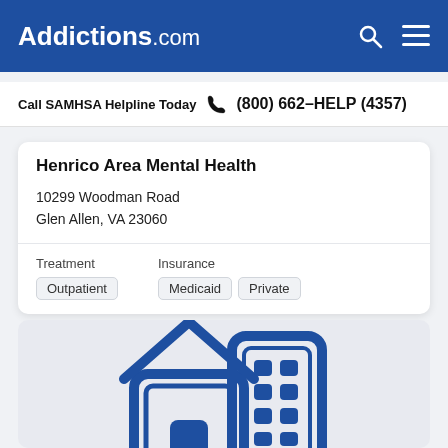Addictions.com
Call SAMHSA Helpline Today  (800) 662-HELP (4357)
Henrico Area Mental Health
10299 Woodman Road
Glen Allen, VA 23060
Treatment
Outpatient
Insurance
Medicaid  Private
[Figure (illustration): Icon illustration of a house and a multi-story building in blue outline style on light gray background, representing treatment facility types.]